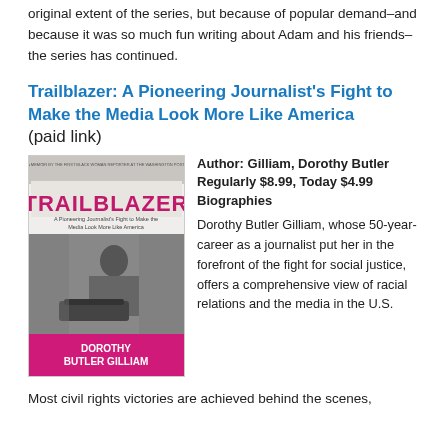original extent of the series, but because of popular demand–and because it was so much fun writing about Adam and his friends–the series has continued.
Trailblazer: A Pioneering Journalist's Fight to Make the Media Look More Like America (paid link)
[Figure (illustration): Book cover of Trailblazer by Dorothy Butler Gilliam, showing a black and white photo of a woman typing at a typewriter with a pink/magenta banner at the bottom with the author's name.]
Author: Gilliam, Dorothy Butler Regularly $8.99, Today $4.99 Biographies Dorothy Butler Gilliam, whose 50-year-career as a journalist put her in the forefront of the fight for social justice, offers a comprehensive view of racial relations and the media in the U.S.
Most civil rights victories are achieved behind the scenes,